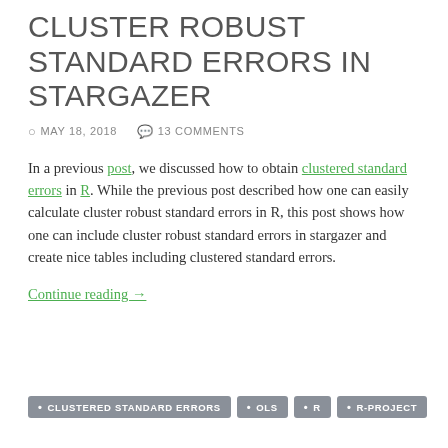CLUSTER ROBUST STANDARD ERRORS IN STARGAZER
MAY 18, 2018  13 COMMENTS
In a previous post, we discussed how to obtain clustered standard errors in R. While the previous post described how one can easily calculate cluster robust standard errors in R, this post shows how one can include cluster robust standard errors in stargazer and create nice tables including clustered standard errors.
Continue reading →
CLUSTERED STANDARD ERRORS  OLS  R  R-PROJECT